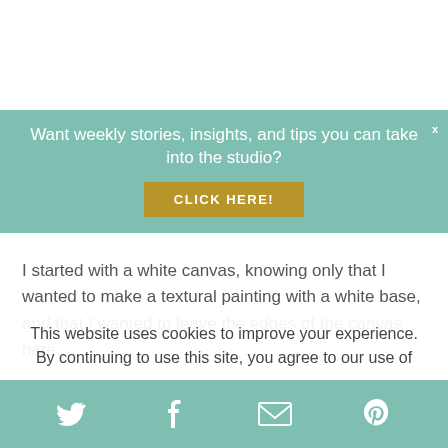Want weekly stories, insights, and tips you can take into the studio?
[Figure (other): Golden/yellow CLICK HERE! button]
I started with a white canvas, knowing only that I wanted to make a textural painting with a white base, and that I wanted to leave the edges of the canvas bare.
I started with a few squeezes of Quinacridone Red straight onto the canvas
This website uses cookies to improve your experience. By continuing to use this site, you agree to our use of
[Figure (other): Social sharing bar with Twitter, Facebook, email, and Pinterest icons on teal background]